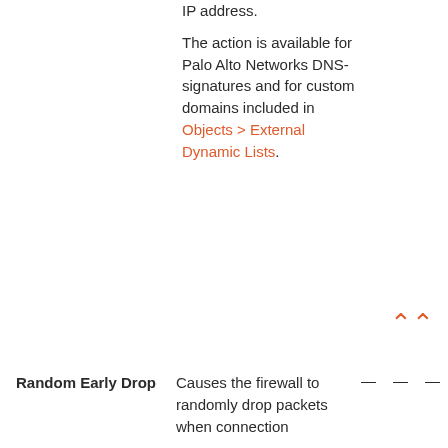IP address.

The action is available for Palo Alto Networks DNS-signatures and for custom domains included in Objects > External Dynamic Lists.
Random Early Drop — Causes the firewall to randomly drop packets when connection